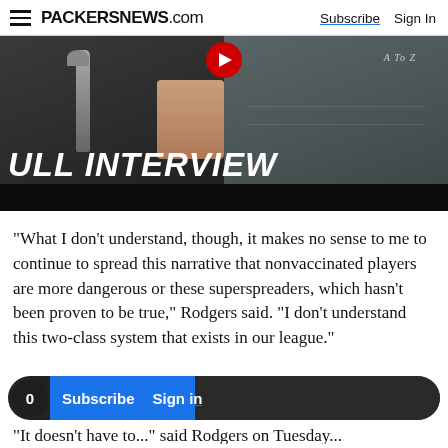PACKERSNEWS.com   Subscribe   Sign In
[Figure (screenshot): Video thumbnail showing two people in a studio setting with text overlay reading 'FULL INTERVIEW' and a red play button at top]
"What I don't understand, though, it makes no sense to me to continue to spread this narrative that nonvaccinated players are more dangerous or these superspreaders, which hasn't been proven to be true," Rodgers said. "I don't understand this two-class system that exists in our league."
Subscribe   Sign in